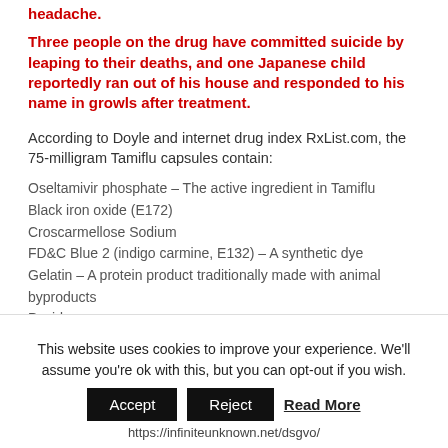headache.
Three people on the drug have committed suicide by leaping to their deaths, and one Japanese child reportedly ran out of his house and responded to his name in growls after treatment.
According to Doyle and internet drug index RxList.com, the 75-milligram Tamiflu capsules contain:
Oseltamivir phosphate – The active ingredient in Tamiflu
Black iron oxide (E172)
Croscarmellose Sodium
FD&C Blue 2 (indigo carmine, E132) – A synthetic dye
Gelatin – A protein product traditionally made with animal byproducts
Povidone
Pregelatinised maize starch Red iron oxide (E172) Shellac – A "natural plastic" secreted from the female lac insect.
This website uses cookies to improve your experience. We'll assume you're ok with this, but you can opt-out if you wish.
Accept | Reject | Read More
https://infiniteunknown.net/dsgvo/